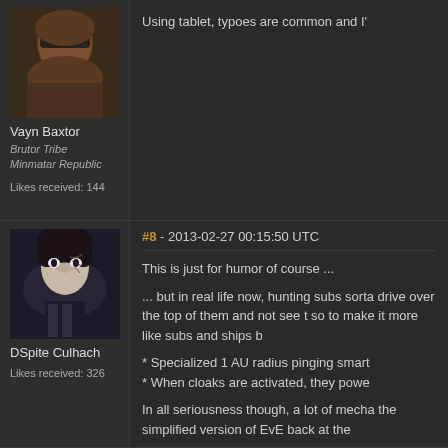[Figure (photo): Avatar of Vayn Baxtor - dark skinned bald man with sunglasses]
Vayn Baxtor
Brutor Tribe
Minmatar Republic
Likes received: 144
Using tablet, typoes are common and I'
[Figure (photo): Avatar of DSpite Culhach - pale character with dark hair and facial markings/scars]
DSpite Culhach
Likes received: 326
#8 - 2013-02-27 00:15:50 UTC
This is just for humor of course ...

... but in real life now, hunting subs sorta drive over the top of them and not see t so to make it more like subs and ships b

* Specialized 1 AU radius pinging smart
* When cloaks are activated, they powe

In all seriousness though, a lot of mecha the simplified version of EvE back at the